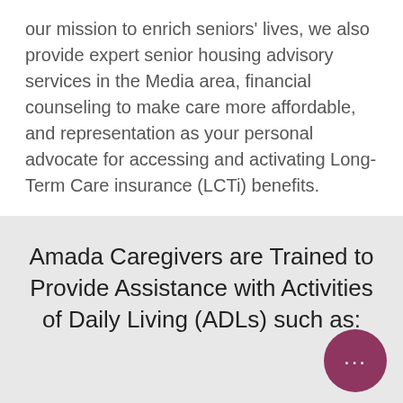our mission to enrich seniors' lives, we also provide expert senior housing advisory services in the Media area, financial counseling to make care more affordable, and representation as your personal advocate for accessing and activating Long-Term Care insurance (LCTi) benefits.
Amada Caregivers are Trained to Provide Assistance with Activities of Daily Living (ADLs) such as:
[Figure (illustration): Circular dark pink/mauve chat bubble icon with three white dots]